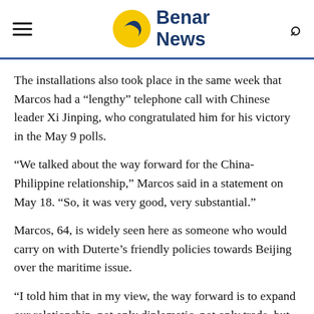Benar News
The installations also took place in the same week that Marcos had a “lengthy” telephone call with Chinese leader Xi Jinping, who congratulated him for his victory in the May 9 polls.
“We talked about the way forward for the China-Philippine relationship,” Marcos said in a statement on May 18. “So, it was very good, very substantial.”
Marcos, 64, is widely seen here as someone who would carry on with Duterte’s friendly policies towards Beijing over the maritime issue.
“I told him that in my view, the way forward is to expand our relationship, not only diplomatic, not only trade, but also in culture, even in education, even in